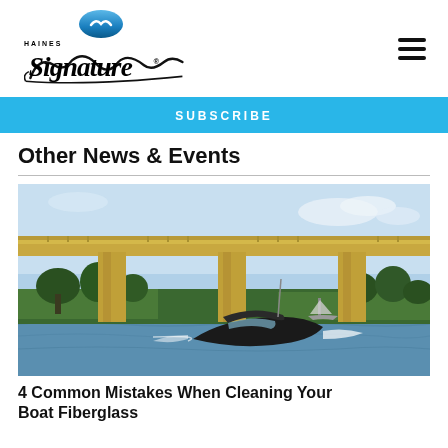[Figure (logo): Haines Signature boat brand logo with oval blue emblem and italic script text]
SUBSCRIBE
Other News & Events
[Figure (photo): A dark-hulled motorboat speeding on a river or waterway, with a large concrete bridge in the background and trees along the shore under a partly cloudy sky.]
4 Common Mistakes When Cleaning Your Boat Fiberglass